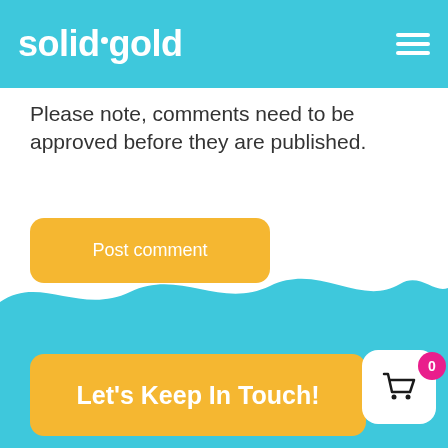solid gold
Please note, comments need to be approved before they are published.
Post comment
Let's Keep In Touch!